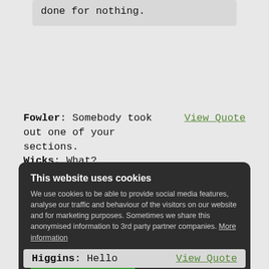done for nothing.
Fowler: Somebody took out one of your sections. Wicks: What?
View Quote
This website uses cookies
We use cookies to be able to provide social media features, analyse our traffic and behaviour of the visitors on our website and for marketing purposes. Sometimes we share this anonymised information to 3rd party partner companies. More information
I accept all Cookies
Change settings
Higgins: Hello
View Quote